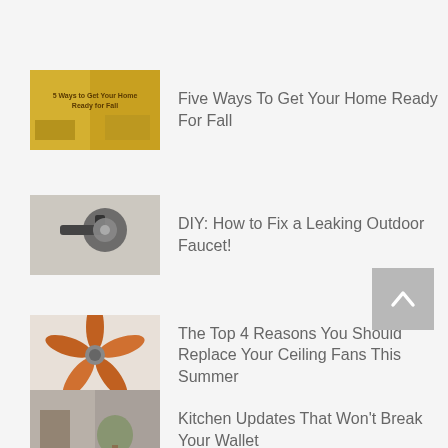Five Ways To Get Your Home Ready For Fall
DIY: How to Fix a Leaking Outdoor Faucet!
The Top 4 Reasons You Should Replace Your Ceiling Fans This Summer
Kitchen Updates That Won't Break Your Wallet